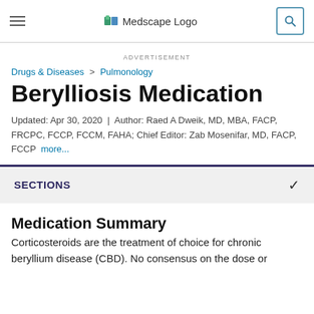Medscape Logo
ADVERTISEMENT
Drugs & Diseases > Pulmonology
Berylliosis Medication
Updated: Apr 30, 2020 | Author: Raed A Dweik, MD, MBA, FACP, FRCPC, FCCP, FCCM, FAHA; Chief Editor: Zab Mosenifar, MD, FACP, FCCP more...
SECTIONS
Medication Summary
Corticosteroids are the treatment of choice for chronic beryllium disease (CBD). No consensus on the dose or